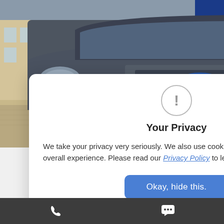[Figure (photo): Grey Ford Transit Custom van photographed from the front, parked on a brick driveway outside a dealership. Vehicle is dark grey/graphite colour. Dealership branding visible on number plate area.]
Hold for  £25
TOM
WB
TO
fee.
[Figure (screenshot): Privacy consent modal dialog overlay on a used van dealership website. Contains an exclamation mark circle icon, title 'Your Privacy', body text about cookies and privacy policy with a link, and a blue 'Okay, hide this.' button.]
Your Privacy
We take your privacy very seriously. We also use cookies to improve your overall experience. Please read our Privacy Policy to learn more
Phone icon  Chat icon